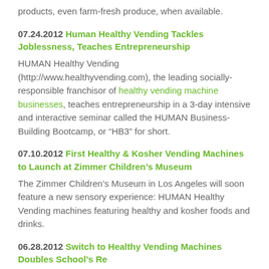products, even farm-fresh produce, when available.
07.24.2012 Human Healthy Vending Tackles Joblessness, Teaches Entrepreneurship
HUMAN Healthy Vending (http://www.healthyvending.com), the leading socially-responsible franchisor of healthy vending machine businesses, teaches entrepreneurship in a 3-day intensive and interactive seminar called the HUMAN Business-Building Bootcamp, or “HB3” for short.
07.10.2012 First Healthy & Kosher Vending Machines to Launch at Zimmer Children’s Museum
The Zimmer Children’s Museum in Los Angeles will soon feature a new sensory experience: HUMAN Healthy Vending machines featuring healthy and kosher foods and drinks.
06.28.2012 Switch to Healthy Vending Machines Doubles School’s Revenue